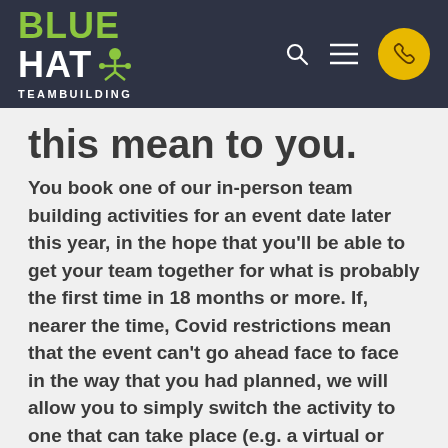BLUE HAT TEAMBUILDING
this mean to you.
You book one of our in-person team building activities for an event date later this year, in the hope that you'll be able to get your team together for what is probably the first time in 18 months or more. If, nearer the time, Covid restrictions mean that the event can't go ahead face to face in the way that you had planned, we will allow you to simply switch the activity to one that can take place (e.g. a virtual or hybrid event experience). If this